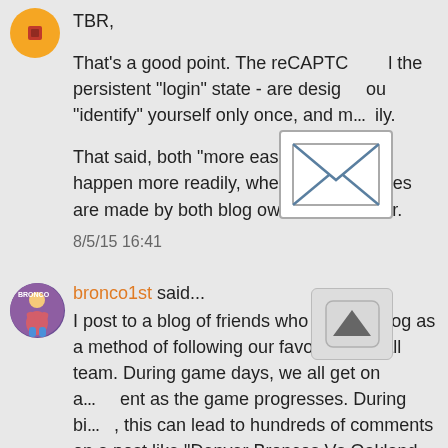TBR,
That's a good point. The reCAPTC... the persistent "login" state - are desig... ou "identify" yourself only once, and m... ily.
That said, both "more easily" and "once" happen more readily, when proper choices are made by both blog owner and reader.
8/5/15 16:41
[Figure (illustration): Envelope icon - email symbol in white box with grey border]
bronco1st said...
I post to a blog of friends who use the blog as a method of following our favorite football team. During game days, we all get on a... ent as the game progresses. During bi... this can lead to hundreds of comments on a post like "Denver Broncos Vs Oakland Raiders"
[Figure (illustration): Scroll to top button - upward pointing triangle arrow in rounded rectangle]